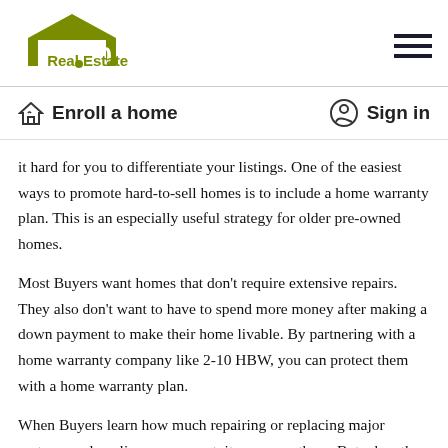2-10 Real Estate
Enroll a home   Sign in
it hard for you to differentiate your listings. One of the easiest ways to promote hard-to-sell homes is to include a home warranty plan. This is an especially useful strategy for older pre-owned homes.
Most Buyers want homes that don't require extensive repairs. They also don't want to have to spend more money after making a down payment to make their home livable. By partnering with a home warranty company like 2-10 HBW, you can protect them with a home warranty plan.
When Buyers learn how much repairing or replacing major systems and appliances can cost, it can scare them. But when they know